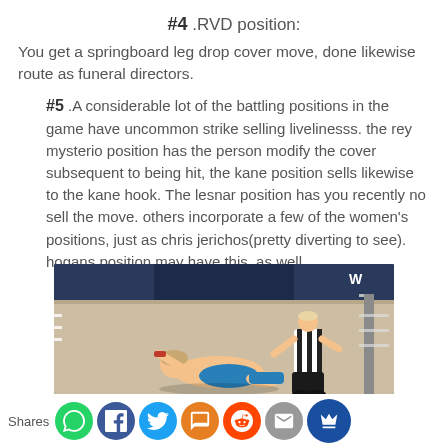#4 .RVD position:
You get a springboard leg drop cover move, done likewise route as funeral directors.
#5 .A considerable lot of the battling positions in the game have uncommon strike selling livelinesss. the rey mysterio position has the person modify the cover subsequent to being hit, the kane position sells likewise to the kane hook. The lesnar position has you recently no sell the move. others incorporate a few of the women's positions, just as chris jerichos(pretty diverting to see). hogans position may have this, as well.
[Figure (photo): Screenshot from a WWE wrestling video game showing a wrestler on the mat in a wrestling ring with a referee nearby]
Shares